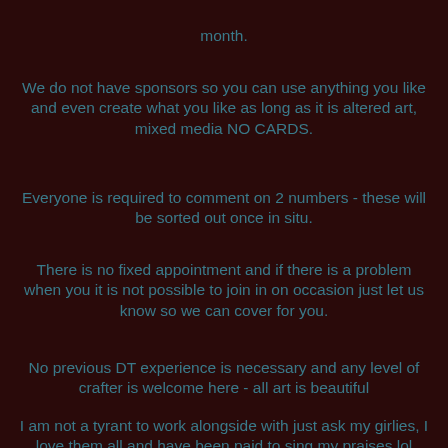month.
We do not have sponsors so you can use anything you like and even create what you like as long as it is altered art, mixed media NO CARDS.
Everyone is required to comment on 2 numbers - these will be sorted out once in situ.
There is no fixed appointment and if there is a problem when you it is not possible to join in on occasion just let us know so we can cover for you.
No previous DT experience is necessary and any level of crafter is welcome here - all art is beautiful
I am not a tyrant to work alongside with just ask my girlies, I love them all and have been paid to sing my praises lol